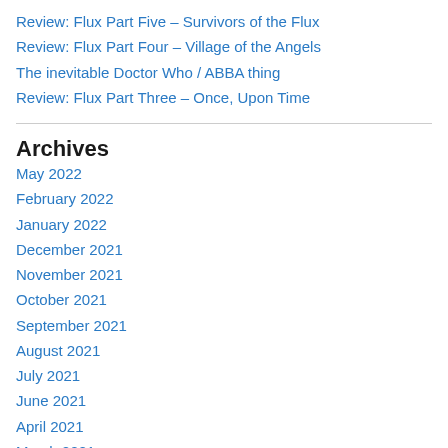Review: Flux Part Five – Survivors of the Flux
Review: Flux Part Four – Village of the Angels
The inevitable Doctor Who / ABBA thing
Review: Flux Part Three – Once, Upon Time
Archives
May 2022
February 2022
January 2022
December 2021
November 2021
October 2021
September 2021
August 2021
July 2021
June 2021
April 2021
March 2021